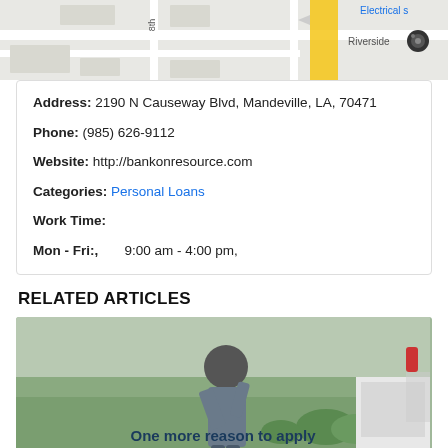[Figure (map): Partial street map showing location near 8th street with a yellow highlighted road and blue Riverside marker with camera icon, and 'Electrical s' text partially visible]
Address: 2190 N Causeway Blvd, Mandeville, LA, 70471
Phone: (985) 626-9112
Website: http://bankonresource.com
Categories: Personal Loans
Work Time:
Mon - Fri:,        9:00 am - 4:00 pm,
RELATED ARTICLES
[Figure (photo): Photo of a person standing next to a white vehicle, looking stressed or shielding eyes from sun, outdoor background with trees and shrubs. Overlaid text reads: 'One more reason to apply for a Title Loan in July, 2022. Pay for gas']